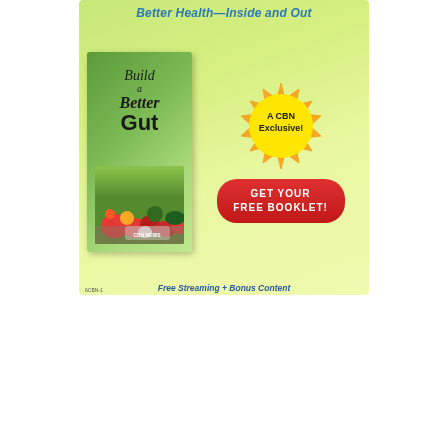[Figure (illustration): CBN advertisement for 'Build a Better Gut' booklet. Green gradient background with a book cover showing vegetables, a yellow starburst badge reading 'A CBN Exclusive!', a red button reading 'GET YOUR FREE BOOKLET!', title text 'Better Health—Inside and Out', and footer 'Free Streaming + Bonus Content'.]